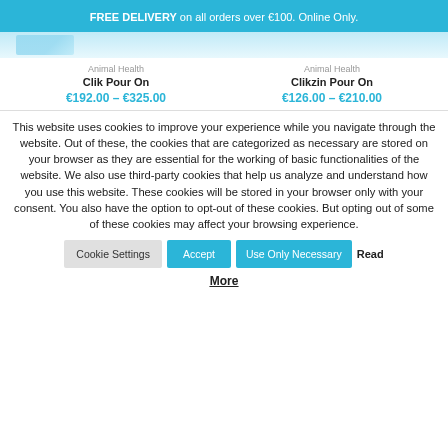FREE DELIVERY on all orders over €100. Online Only.
[Figure (photo): Partial product image strip at top of product listing]
Animal Health
Clik Pour On
€192.00 – €325.00
Animal Health
Clikzin Pour On
€126.00 – €210.00
This website uses cookies to improve your experience while you navigate through the website. Out of these, the cookies that are categorized as necessary are stored on your browser as they are essential for the working of basic functionalities of the website. We also use third-party cookies that help us analyze and understand how you use this website. These cookies will be stored in your browser only with your consent. You also have the option to opt-out of these cookies. But opting out of some of these cookies may affect your browsing experience.
Cookie Settings | Accept | Use Only Necessary | Read More